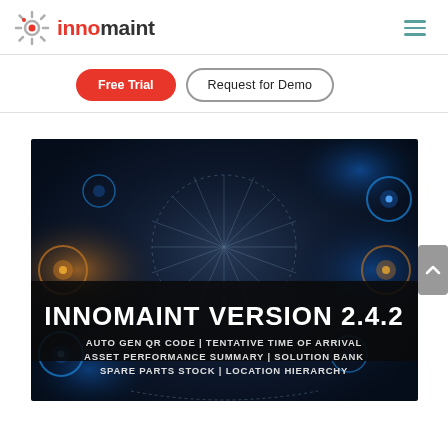innomaint — Free Trial | Request for Demo
[Figure (screenshot): Innomaint Version 2.4.2 banner image with dark background and blue glowing gear/mechanical design. Text reads: INNOMAINT VERSION 2.4.2 / AUTO GEN QR CODE | TENTATIVE TIME OF ARRIVAL / ASSET PERFORMANCE SUMMARY | SOLUTION BANK / SPARE PARTS STOCK | LOCATION HIERARCHY]